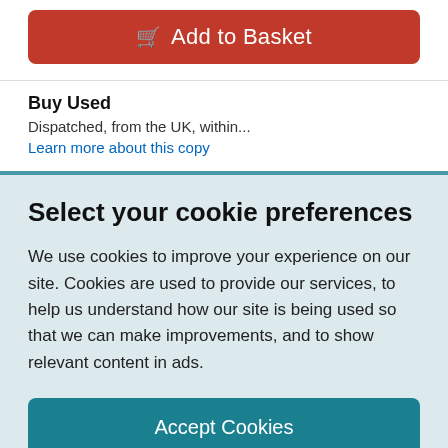Add to Basket
Buy Used
Dispatched, from the UK, within...
Learn more about this copy
Select your cookie preferences
We use cookies to improve your experience on our site. Cookies are used to provide our services, to help us understand how our site is being used so that we can make improvements, and to show relevant content in ads.
Accept Cookies
Customise Cookies